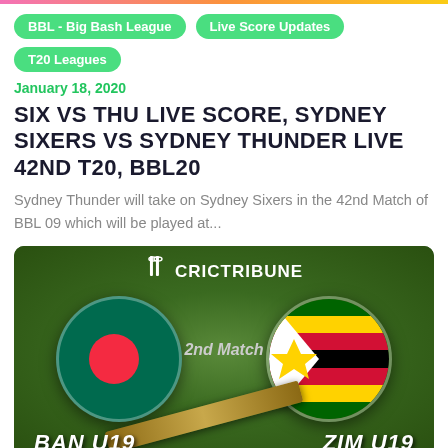BBL - Big Bash League
Live Score Updates
T20 Leagues
January 18, 2020
SIX VS THU LIVE SCORE, SYDNEY SIXERS VS SYDNEY THUNDER LIVE 42ND T20, BBL20
Sydney Thunder will take on Sydney Sixers in the 42nd Match of BBL 09 which will be played at...
[Figure (photo): Cricket match graphic showing Bangladesh vs Zimbabwe 2nd Match with CricTribune logo, Bangladesh flag (green circle with red dot) on left, Zimbabwe flag circle on right, cricket bat in foreground, and partial score text at bottom]